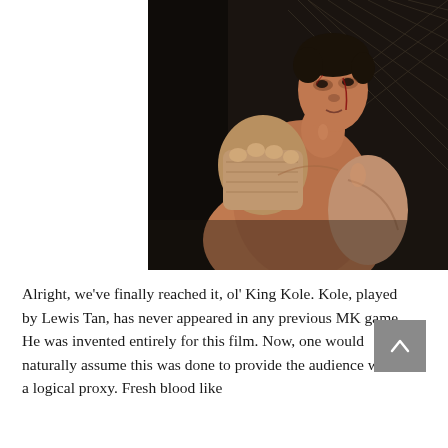[Figure (photo): A shirtless male fighter with wrapped hands in a fighting stance, with cuts and blood on his face, photographed in front of a chain-link fence background. Scene from the Mortal Kombat film.]
Alright, we've finally reached it, ol' King Kole. Kole, played by Lewis Tan, has never appeared in any previous MK game. He was invented entirely for this film. Now, one would naturally assume this was done to provide the audience with a logical proxy. Fresh blood like